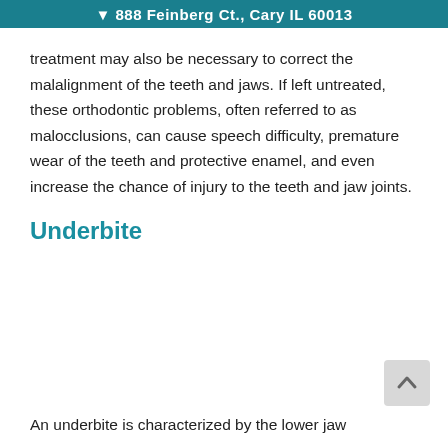888 Feinberg Ct., Cary IL 60013
treatment may also be necessary to correct the malalignment of the teeth and jaws. If left untreated, these orthodontic problems, often referred to as malocclusions, can cause speech difficulty, premature wear of the teeth and protective enamel, and even increase the chance of injury to the teeth and jaw joints.
Underbite
An underbite is characterized by the lower jaw...